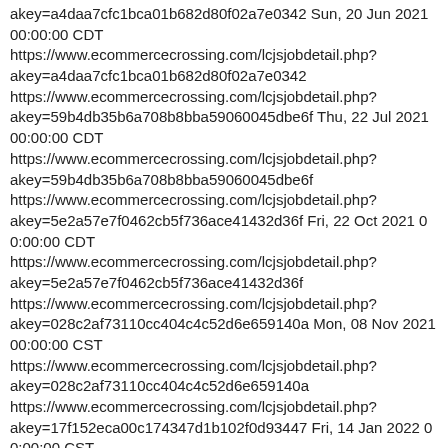akey=a4daa7cfc1bca01b682d80f02a7e0342 Sun, 20 Jun 2021 00:00:00 CDT https://www.ecommercecrossing.com/lcjsjobdetail.php?akey=a4daa7cfc1bca01b682d80f02a7e0342 https://www.ecommercecrossing.com/lcjsjobdetail.php?akey=59b4db35b6a708b8bba59060045dbe6f Thu, 22 Jul 2021 00:00:00 CDT https://www.ecommercecrossing.com/lcjsjobdetail.php?akey=59b4db35b6a708b8bba59060045dbe6f https://www.ecommercecrossing.com/lcjsjobdetail.php?akey=5e2a57e7f0462cb5f736ace41432d36f Fri, 22 Oct 2021 00:00:00 CDT https://www.ecommercecrossing.com/lcjsjobdetail.php?akey=5e2a57e7f0462cb5f736ace41432d36f https://www.ecommercecrossing.com/lcjsjobdetail.php?akey=028c2af73110cc404c4c52d6e659140a Mon, 08 Nov 2021 00:00:00 CST https://www.ecommercecrossing.com/lcjsjobdetail.php?akey=028c2af73110cc404c4c52d6e659140a https://www.ecommercecrossing.com/lcjsjobdetail.php?akey=17f152eca00c174347d1b102f0d93447 Fri, 14 Jan 2022 00:00:00 CST https://www.ecommercecrossing.com/lcjsjobdetail.php?akey=17f152eca00c174347d1b102f0d93447 https://www.ecommercecrossing.com/lcjsjobdetail.php?akey=944919c8bb69c84f0311bcad5c3549bc Sat, 05 Feb 2022